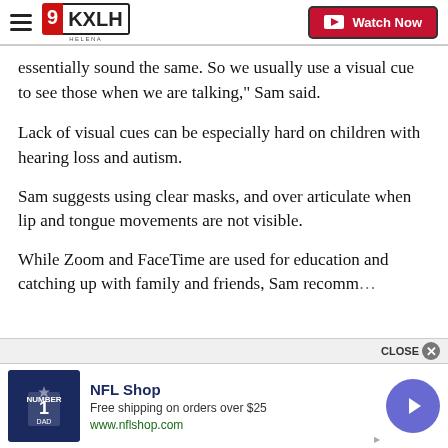9KXLH Helena | Watch Now
essentially sound the same. So we usually use a visual cue to see those when we are talking," Sam said.
Lack of visual cues can be especially hard on children with hearing loss and autism.
Sam suggests using clear masks, and over articulate when lip and tongue movements are not visible.
While Zoom and FaceTime are used for education and catching up with family and friends, Sam recomm…
[Figure (screenshot): NFL Shop advertisement with jersey image, free shipping offer text, and navigation arrow button]